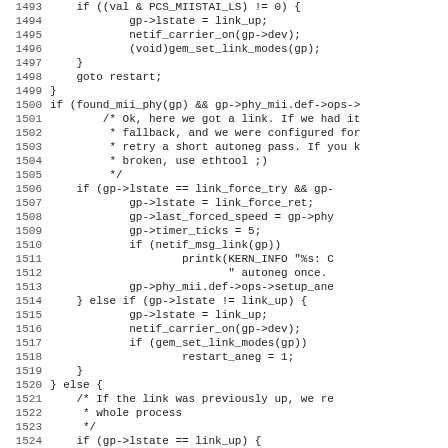[Figure (screenshot): Source code listing showing C code for network driver link state handling, lines 1493-1524+]